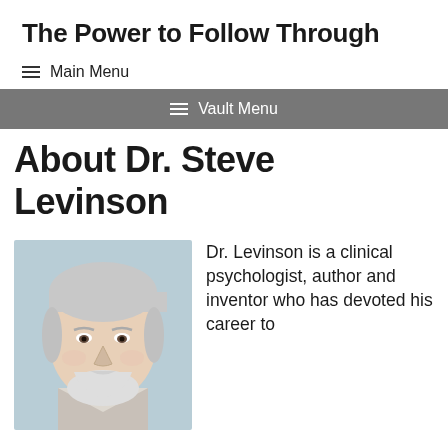The Power to Follow Through
≡ Main Menu
≡ Vault Menu
About Dr. Steve Levinson
[Figure (photo): Headshot photo of Dr. Steve Levinson, an older man with white/grey hair and a beard, smiling, against a light blue-grey background.]
Dr. Levinson is a clinical psychologist, author and inventor who has devoted his career to